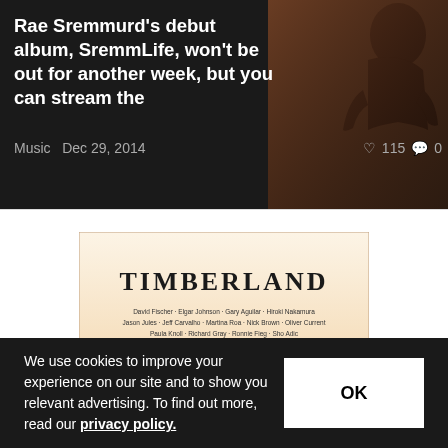Rae Sremmurd's debut album, SremmLife, won't be out for another week, but you can stream the
Music  Dec 29, 2014  115  0
[Figure (screenshot): Book cover for TIMBERLAND with foggy forest trees background in warm orange/pink tones, with author names listed below the title]
We use cookies to improve your experience on our site and to show you relevant advertising. To find out more, read our privacy policy.